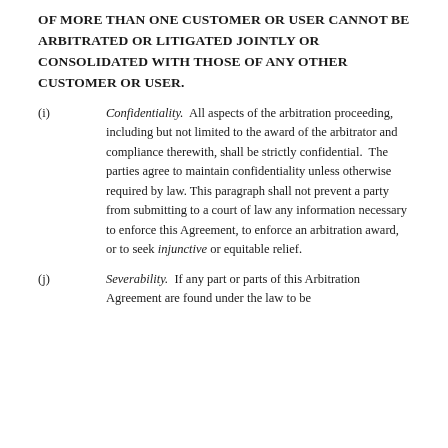OF MORE THAN ONE CUSTOMER OR USER CANNOT BE ARBITRATED OR LITIGATED JOINTLY OR CONSOLIDATED WITH THOSE OF ANY OTHER CUSTOMER OR USER.
(i) Confidentiality. All aspects of the arbitration proceeding, including but not limited to the award of the arbitrator and compliance therewith, shall be strictly confidential. The parties agree to maintain confidentiality unless otherwise required by law. This paragraph shall not prevent a party from submitting to a court of law any information necessary to enforce this Agreement, to enforce an arbitration award, or to seek injunctive or equitable relief.
(j) Severability. If any part or parts of this Arbitration Agreement are found under the law to be